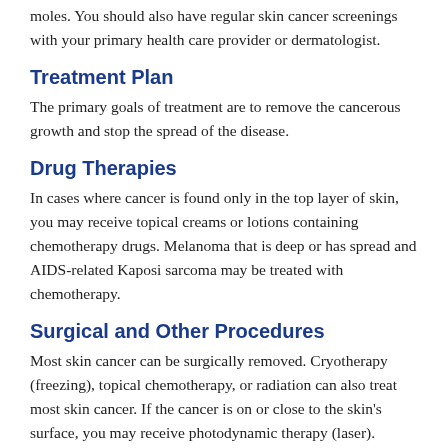moles. You should also have regular skin cancer screenings with your primary health care provider or dermatologist.
Treatment Plan
The primary goals of treatment are to remove the cancerous growth and stop the spread of the disease.
Drug Therapies
In cases where cancer is found only in the top layer of skin, you may receive topical creams or lotions containing chemotherapy drugs. Melanoma that is deep or has spread and AIDS-related Kaposi sarcoma may be treated with chemotherapy.
Surgical and Other Procedures
Most skin cancer can be surgically removed. Cryotherapy (freezing), topical chemotherapy, or radiation can also treat most skin cancer. If the cancer is on or close to the skin's surface, you may receive photodynamic therapy (laser).